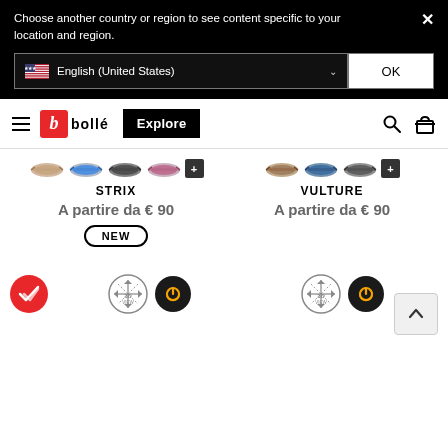Choose another country or region to see content specific to your location and region.
English (United States)
OK
[Figure (screenshot): Bollé brand navigation bar with hamburger menu, red 'b' logo, 'bolle' text, black 'Explore' button, search icon, and bag icon]
[Figure (screenshot): STRIX sunglasses product thumbnails (4 variants) with plus badge]
STRIX
A partire da € 90
NEW
[Figure (screenshot): VULTURE sunglasses product thumbnails (3 variants) with plus badge]
VULTURE
A partire da € 90
[Figure (screenshot): Bottom icons row with red check badge, 3D viewer icon, power icon on left column; 3D viewer icon and power icon on right column; scroll-to-top chevron button]